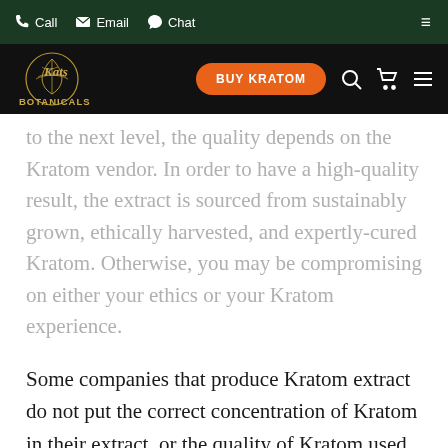Call  Email  Chat
[Figure (logo): Kats Botanicals logo with golden botanical illustration and BUY KRATOM orange button, search, cart, and menu icons on dark navigation bar]
to the next level, the quality depends on the Kratom vendor. In order to have a high-quality result, the extract is sourced from sustainably grown, ethically harvested, and expertly-cured Kratom. Otherwise, you may be compromising on either your ethics or your Kratom experience.
Some companies that produce Kratom extract do not put the correct concentration of Kratom in their extract, or the quality of Kratom used for the extract isn't consistent.